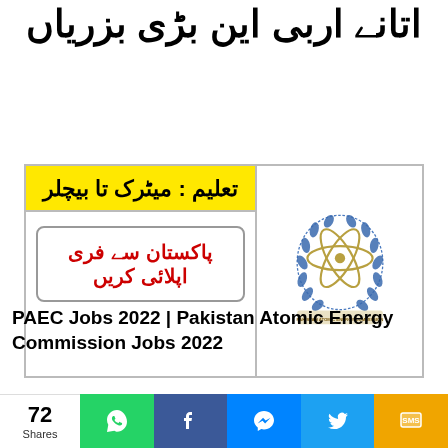اتانے اربی این بڑی بزریاں
[Figure (infographic): Job advertisement card for PAEC with yellow education label reading 'تعلیم: میٹرک تا بیچلر' and red text 'پاکستان سے فری اپلائی کریں' with PAEC atomic energy commission logo on the right]
PAEC Jobs 2022 | Pakistan Atomic Energy Commission Jobs 2022
Read More »
[Figure (photo): Huawei advertisement banner showing women in red dresses and HUAWEI brand text in large red letters]
72 Shares | Share buttons: WhatsApp, Facebook, Messenger, Twitter, SMS